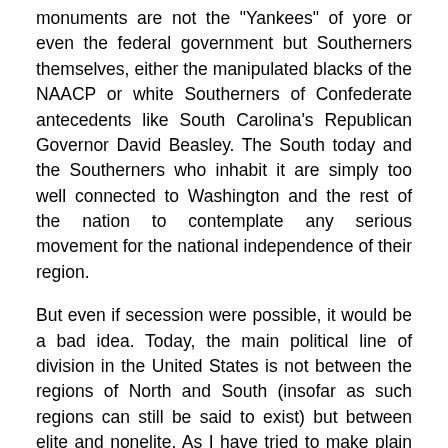monuments are not the "Yankees" of yore or even the federal government but Southerners themselves, either the manipulated blacks of the NAACP or white Southerners of Confederate antecedents like South Carolina's Republican Governor David Beasley. The South today and the Southerners who inhabit it are simply too well connected to Washington and the rest of the nation to contemplate any serious movement for the national independence of their region.
But even if secession were possible, it would be a bad idea. Today, the main political line of division in the United States is not between the regions of North and South (insofar as such regions can still be said to exist) but between elite and nonelite. As I have tried to make plain in columns in this magazine and many other places for the last 15 years, the elite, based in Washington, New York, and a few large metropolises, allies with the underclass against Middle Americans, who are the targets of the social fight the government off